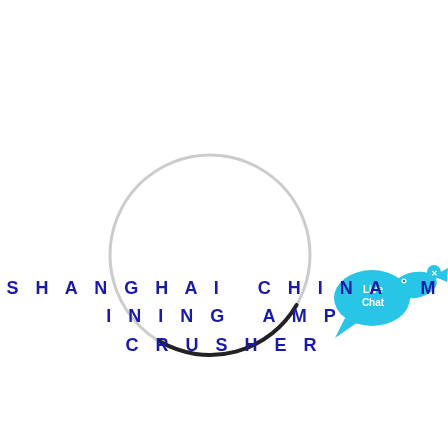[Figure (logo): A loading spinner circle: thin light gray circle outline with a short dark arc at the bottom-right, indicating a loading state. A Live Chat widget with a blue speech bubble and fish icon with an X close button is in the upper right area.]
SHANGHAI CHINA MINING AMP CRUSHER